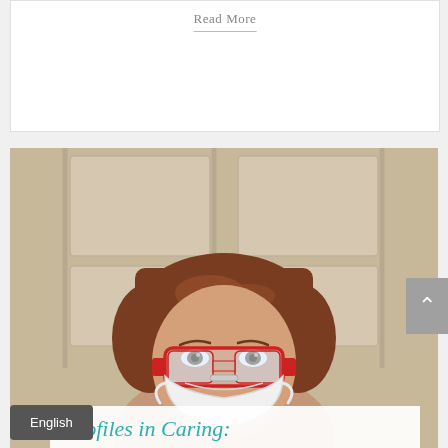Read More
[Figure (photo): A woman wearing protective goggles with red frame and a white N95/surgical mask, standing in front of a white paneled door. The photo shows the upper half of her face — she has reddish-brown hair and green/hazel eyes. The image appears to be a healthcare worker profile photo.]
English
Profiles in Caring: